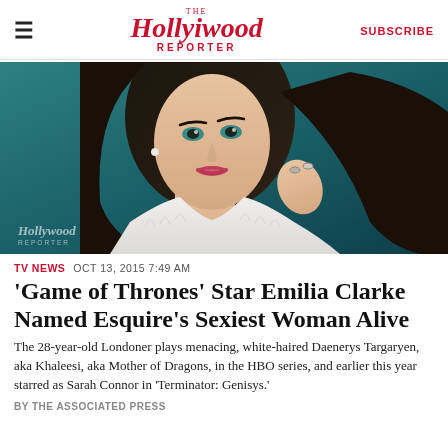The Hollywood Reporter | SUBSCRIBE
[Figure (photo): Portrait photo of Emilia Clarke against a teal background, wearing white feathered outfit, holding rings up near face. Hollywood Reporter watermark in bottom left.]
TV NEWS  OCT 13, 2015 7:49 AM
'Game of Thrones' Star Emilia Clarke Named Esquire's Sexiest Woman Alive
The 28-year-old Londoner plays menacing, white-haired Daenerys Targaryen, aka Khaleesi, aka Mother of Dragons, in the HBO series, and earlier this year starred as Sarah Connor in 'Terminator: Genisys.'
BY THE ASSOCIATED PRESS